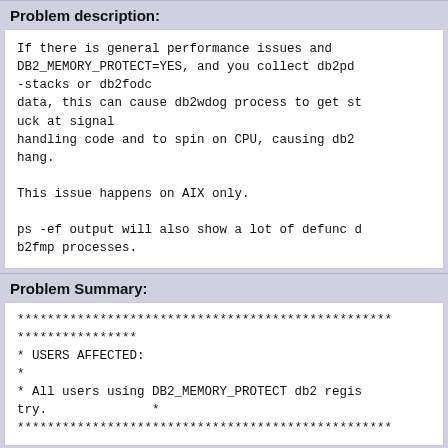Problem description:
If there is general performance issues and DB2_MEMORY_PROTECT=YES, and you collect db2pd -stacks or db2fodc
data, this can cause db2wdog process to get stuck at signal
handling code and to spin on CPU, causing db2 hang.

This issue happens on AIX only.

ps -ef output will also show a lot of defunc db2fmp processes.
Problem Summary:
**************************************************
****************
* USERS AFFECTED:
*
* All users using DB2_MEMORY_PROTECT db2 registry.
                  *
**************************************************